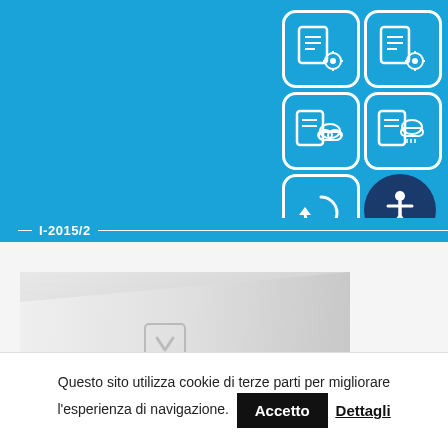[Figure (screenshot): Blue background section with 6 icons in a 2x3 grid on the right side. Icons include pencil/settings icons (top row), pencil/cloud icons (middle row), and a circular arrow and disability/accessibility symbol (bottom row). All icons are white on rounded square or circular backgrounds.]
I-2015/2
[Figure (photo): Close-up photo of a white/silver surface with an embossed or recessed arrow/symbol, appearing to be a product detail shot on a light grey background.]
Questo sito utilizza cookie di terze parti per migliorare l'esperienza di navigazione. Accetto Dettagli